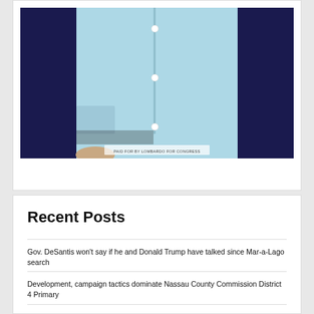[Figure (photo): Photo of a person wearing a light blue shirt, against a dark blue/purple background. Watermark text reads 'PAID FOR BY LOMBARDO FOR CONGRESS'.]
Recent Posts
Gov. DeSantis won't say if he and Donald Trump have talked since Mar-a-Lago search
Development, campaign tactics dominate Nassau County Commission District 4 Primary
Personnel note: Brian Mimbs named Deputy Secretary at DBPR